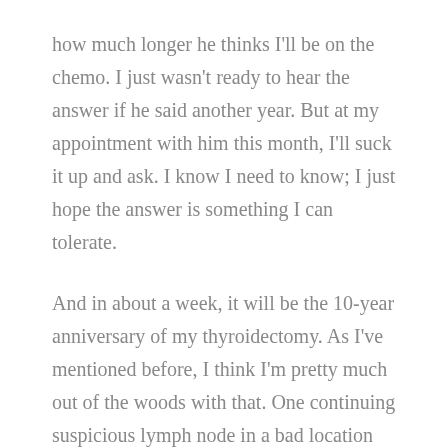how much longer he thinks I'll be on the chemo. I just wasn't ready to hear the answer if he said another year. But at my appointment with him this month, I'll suck it up and ask. I know I need to know; I just hope the answer is something I can tolerate.
And in about a week, it will be the 10-year anniversary of my thyroidectomy. As I've mentioned before, I think I'm pretty much out of the woods with that. One continuing suspicious lymph node in a bad location but no changes in it over the years.
Kyle and I celebrated our 14th anniversary as well. He has somehow managed to stick by me through all this mess, and it's not always easy.